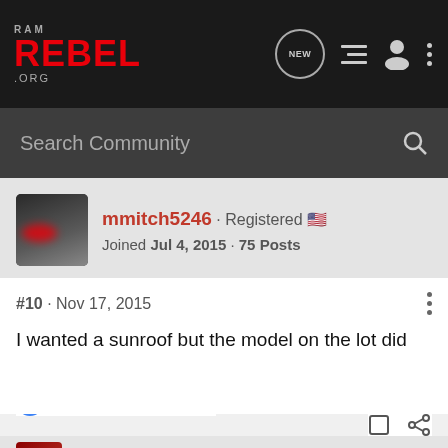RAM REBEL .ORG — forum navigation header
Search Community
mmitch5246 · Registered — Joined Jul 4, 2015 · 75 Posts
#10 · Nov 17, 2015
I wanted a sunroof but the model on the lot did not have one.
Rebel.Law
Runner 548 · Registered